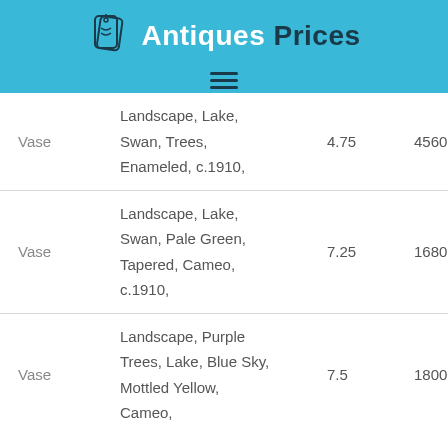Antiques Prices
| Type | Description | Size | Price |
| --- | --- | --- | --- |
| Vase | Landscape, Lake, Swan, Trees, Enameled, c.1910, | 4.75 | 4560 |
| Vase | Landscape, Lake, Swan, Pale Green, Tapered, Cameo, c.1910, | 7.25 | 1680 |
| Vase | Landscape, Purple Trees, Lake, Blue Sky, Mottled Yellow, Cameo, | 7.5 | 1800 |